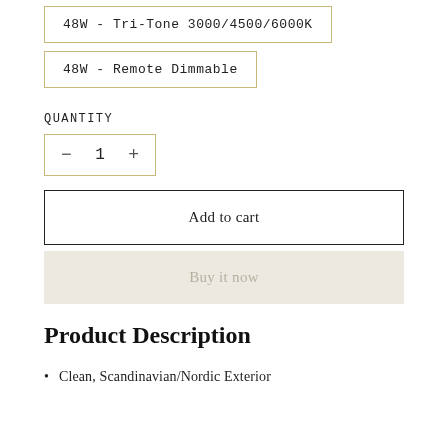48W - Tri-Tone 3000/4500/6000K
48W - Remote Dimmable
QUANTITY
− 1 +
Add to cart
Buy it now
Product Description
Clean, Scandinavian/Nordic Exterior